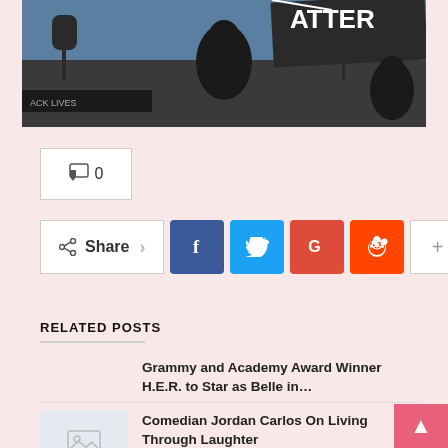[Figure (photo): Outdoor protest photo showing a person in silhouette against a blue sky holding a banner with 'ATTER' visible (Black Lives Matter), bare trees in background]
💬 0
Share
RELATED POSTS
Grammy and Academy Award Winner H.E.R. to Star as Belle in…
Comedian Jordan Carlos On Living Through Laughter